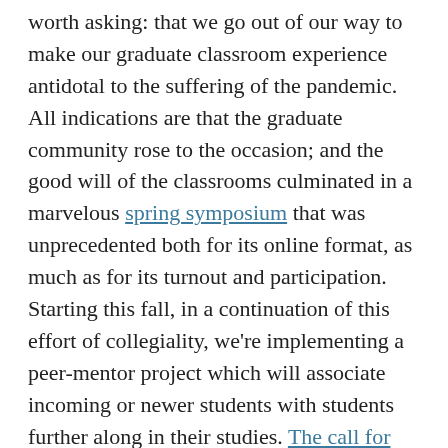worth asking: that we go out of our way to make our graduate classroom experience antidotal to the suffering of the pandemic. All indications are that the graduate community rose to the occasion; and the good will of the classrooms culminated in a marvelous spring symposium that was unprecedented both for its online format, as much as for its turnout and participation. Starting this fall, in a continuation of this effort of collegiality, we're implementing a peer-mentor project which will associate incoming or newer students with students further along in their studies. The call for volunteers for this has garnered strong feedback already. In a few weeks, after it seems we've gotten the names of everyone interested in being a peer-mentor, we'll be contacting newer students with the names and contact info of a few volunteer-mentors to whom those newer students can turn for advice or with questions.
Below in this post you will find news about some of our students, alumni, and faculty; followed by information about